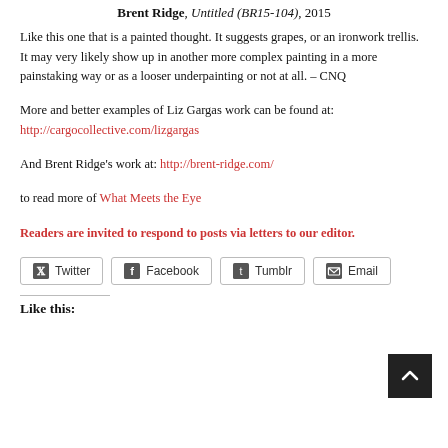Brent Ridge, Untitled (BR15-104), 2015
Like this one that is a painted thought. It suggests grapes, or an ironwork trellis. It may very likely show up in another more complex painting in a more painstaking way or as a looser underpainting or not at all. – CNQ
More and better examples of Liz Gargas work can be found at: http://cargocollective.com/lizgargas
And Brent Ridge's work at: http://brent-ridge.com/
to read more of What Meets the Eye
Readers are invited to respond to posts via letters to our editor.
Twitter  Facebook  Tumblr  Email
Like this: